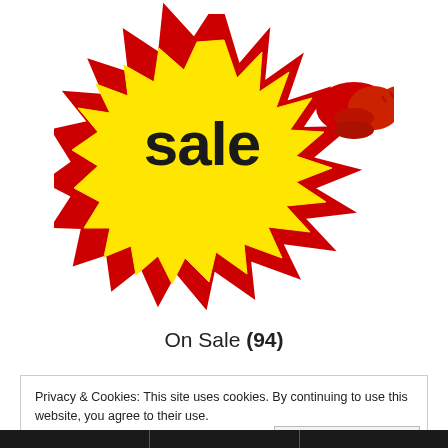[Figure (illustration): A colorful 'sale' promotional graphic: bold black text 'sale' on a yellow starburst shape with red jagged edges, and a red cartoon hand/finger pointing to the right.]
On Sale (94)
Privacy & Cookies: This site uses cookies. By continuing to use this website, you agree to their use. To find out more, including how to control cookies, see here: Cookie Policy
Close and accept